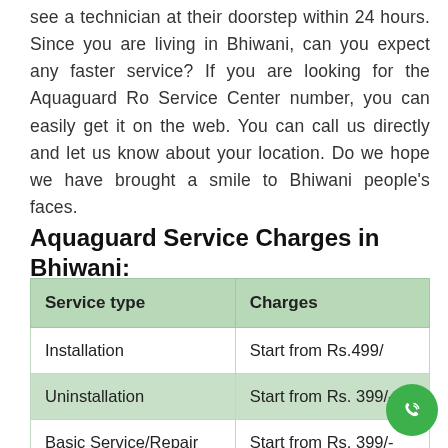see a technician at their doorstep within 24 hours. Since you are living in Bhiwani, can you expect any faster service? If you are looking for the Aquaguard Ro Service Center number, you can easily get it on the web. You can call us directly and let us know about your location. Do we hope we have brought a smile to Bhiwani people's faces.
Aquaguard Service Charges in Bhiwani:
| Service type | Charges |
| --- | --- |
| Installation | Start from Rs.499/ |
| Uninstallation | Start from Rs. 399/- |
| Basic Service/Repair | Start from Rs. 399/- |